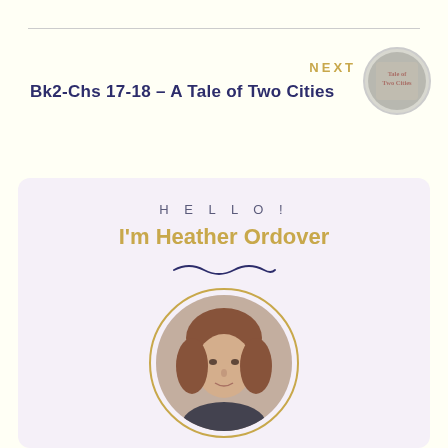NEXT
Bk2-Chs 17-18 – A Tale of Two Cities
[Figure (photo): Circular thumbnail image of a book cover for 'Tale of Two Cities']
HELLO!
I'm Heather Ordover
[Figure (photo): Circular portrait photo of Heather Ordover, a woman with auburn/brown shoulder-length hair, wearing a dark top, photographed outdoors]